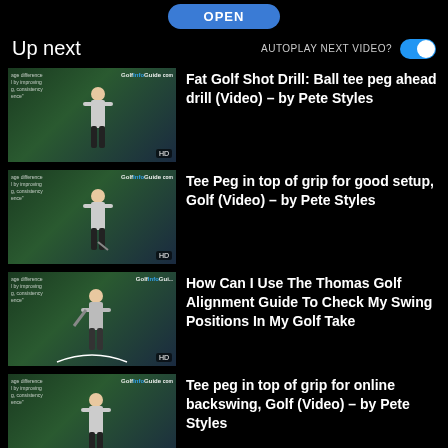[Figure (screenshot): Blue OPEN button at top of screen]
Up next
AUTOPLAY NEXT VIDEO? [toggle on]
[Figure (screenshot): Thumbnail of golf instructor doing fat shot ball tee peg drill]
Fat Golf Shot Drill: Ball tee peg ahead drill (Video) - by Pete Styles
[Figure (screenshot): Thumbnail of golf instructor demonstrating tee peg in top of grip]
Tee Peg in top of grip for good setup, Golf (Video) - by Pete Styles
[Figure (screenshot): Thumbnail of golf instructor with Thomas Golf Alignment Guide]
How Can I Use The Thomas Golf Alignment Guide To Check My Swing Positions In My Golf Take
[Figure (screenshot): Thumbnail of golf instructor demonstrating tee peg in top of grip for backswing]
Tee peg in top of grip for online backswing, Golf (Video) - by Pete Styles